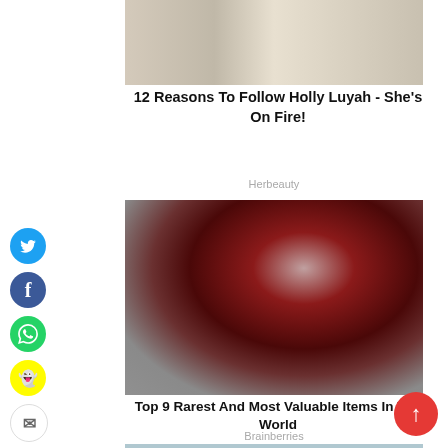[Figure (photo): Cropped photo showing a bird and a person, partially visible at the top of the page]
12 Reasons To Follow Holly Luyah - She's On Fire!
Herbeauty
[Figure (photo): Close-up photo of hands holding a large dark red/maroon faceted gemstone]
Top 9 Rarest And Most Valuable Items In The World
Brainberries
[Figure (photo): Partially visible image at the very bottom of the page]